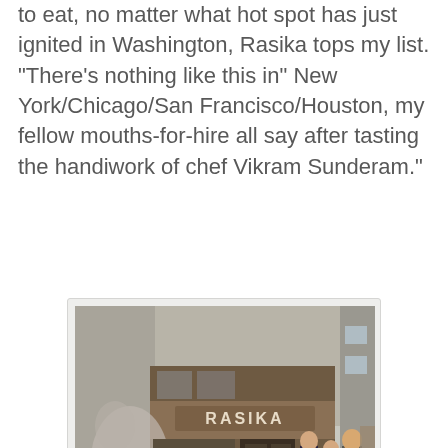to eat, no matter what hot spot has just ignited in Washington, Rasika tops my list. “There’s nothing like this in” New York/Chicago/San Francisco/Houston, my fellow mouths-for-hire all say after tasting the handiwork of chef Vikram Sunderam.”
[Figure (photo): Exterior of Rasika restaurant with pedestrians walking by, motion blur on foreground figures, storefront sign reading RASIKA, red planter visible near entrance]
[Figure (photo): Interior of Rasika restaurant showing warm lighting, dark wood panels, restaurant seating area with soft ambient light]